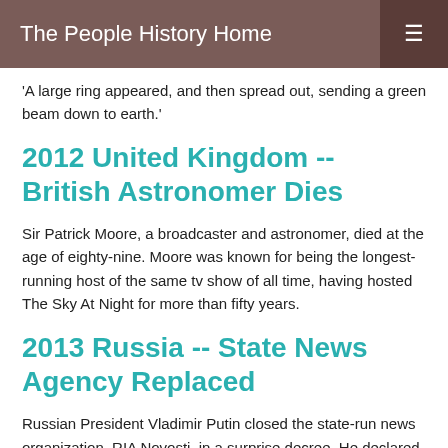The People History Home
'A large ring appeared, and then spread out, sending a green beam down to earth.'
2012 United Kingdom -- British Astronomer Dies
Sir Patrick Moore, a broadcaster and astronomer, died at the age of eighty-nine. Moore was known for being the longest-running host of the same tv show of all time, having hosted The Sky At Night for more than fifty years.
2013 Russia -- State News Agency Replaced
Russian President Vladimir Putin closed the state-run news organization, RIA Novosti, in a surprise decree. He declared that it would be replaced by a new organization called "Russia